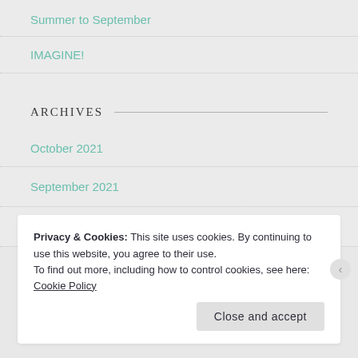Summer to September
IMAGINE!
ARCHIVES
October 2021
September 2021
August 2021
Privacy & Cookies: This site uses cookies. By continuing to use this website, you agree to their use.
To find out more, including how to control cookies, see here: Cookie Policy
Close and accept